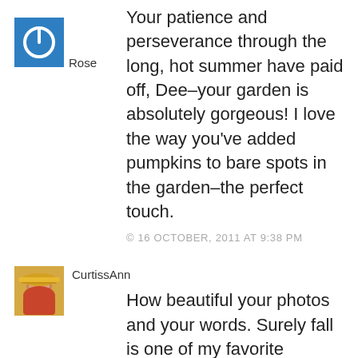[Figure (illustration): Blue square avatar with white power button icon]
Rose
Your patience and perseverance through the long, hot summer have paid off, Dee–your garden is absolutely gorgeous! I love the way you've added pumpkins to bare spots in the garden–the perfect touch.
© 16 OCTOBER, 2011 AT 9:38 PM
[Figure (photo): Small avatar photo of a woman in a yellow hat]
CurtissAnn
How beautiful your photos and your words. Surely fall is one of my favorite